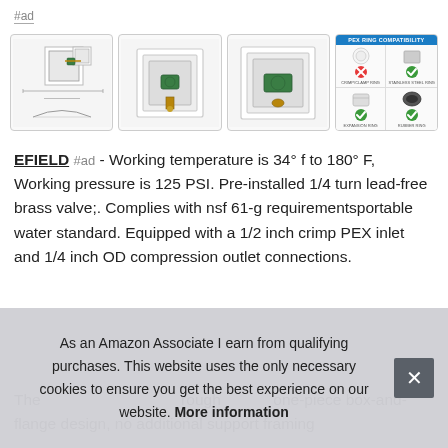#ad
[Figure (photo): Four product images: (1) ice maker outlet box diagram/technical drawing with dimensions; (2) ice maker outlet box with green ball valve installed; (3) overhead view of outlet box with ball valve; (4) PEX Ring Compatibility chart with checkmarks and X marks for different PEX ring types]
EFIELD #ad - Working temperature is 34° f to 180° F, Working pressure is 125 PSI. Pre-installed 1/4 turn lead-free brass valve;. Complies with nsf 61-g requirementsportable water standard. Equipped with a 1/2 inch crimp PEX inlet and 1/4 inch OD compression outlet connections.
The rough one-piece box-and-flange design, no additional support framing
As an Amazon Associate I earn from qualifying purchases. This website uses the only necessary cookies to ensure you get the best experience on our website. More information